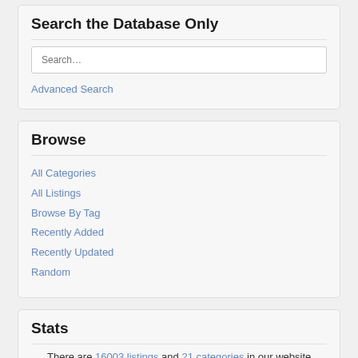Search the Database Only
Search…
Advanced Search
Browse
All Categories
All Listings
Browse By Tag
Recently Added
Recently Updated
Random
Stats
There are 16003 listings and 21 categories in our website
New at the Mini Mart